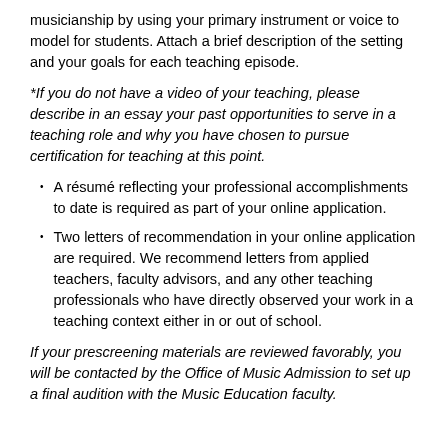musicianship by using your primary instrument or voice to model for students. Attach a brief description of the setting and your goals for each teaching episode.
*If you do not have a video of your teaching, please describe in an essay your past opportunities to serve in a teaching role and why you have chosen to pursue certification for teaching at this point.
A résumé reflecting your professional accomplishments to date is required as part of your online application.
Two letters of recommendation in your online application are required. We recommend letters from applied teachers, faculty advisors, and any other teaching professionals who have directly observed your work in a teaching context either in or out of school.
If your prescreening materials are reviewed favorably, you will be contacted by the Office of Music Admission to set up a final audition with the Music Education faculty.